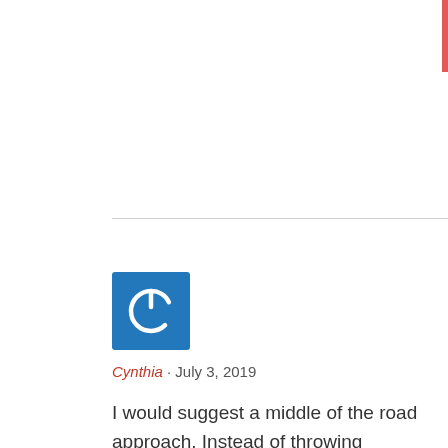[Figure (logo): Blue square avatar icon with a white power/circle symbol]
Cynthia · July 3, 2019
I would suggest a middle of the road approach. Instead of throwing everything you have at the debt, save an equal amount to what you are paying. So, you have a cushion- just in case. You've come too far to just stop now and only pay the minimum. Your health is important. It will feel great to pay off the rest